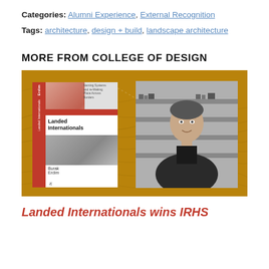Categories: Alumni Experience, External Recognition
Tags: architecture, design + build, landscape architecture
MORE FROM COLLEGE OF DESIGN
[Figure (photo): Composite image with golden/amber topographic map background. On the left, a book cover for 'Landed Internationals' by Burak Erdim with a red spine. On the right, a black and white portrait photo of a man in a dark suit jacket standing in front of bookshelves.]
Landed Internationals wins IRHS